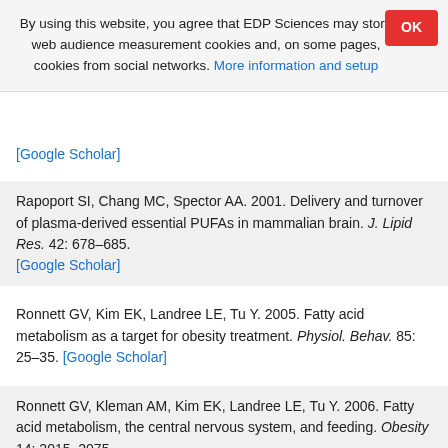By using this website, you agree that EDP Sciences may store web audience measurement cookies and, on some pages, cookies from social networks. More information and setup
[Google Scholar]
Rapoport SI, Chang MC, Spector AA. 2001. Delivery and turnover of plasma-derived essential PUFAs in mammalian brain. J. Lipid Res. 42: 678–685. [Google Scholar]
Ronnett GV, Kim EK, Landree LE, Tu Y. 2005. Fatty acid metabolism as a target for obesity treatment. Physiol. Behav. 85: 25–35. [Google Scholar]
Ronnett GV, Kleman AM, Kim EK, Landree LE, Tu Y. 2006. Fatty acid metabolism, the central nervous system, and feeding. Obesity 14: 2015–2075.